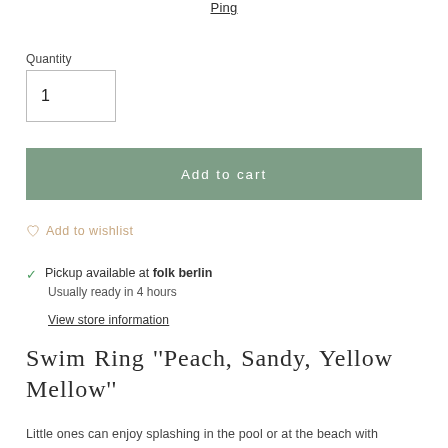Ping
Quantity
1
Add to cart
Add to wishlist
Pickup available at folk berlin
Usually ready in 4 hours
View store information
Swim Ring ''Peach, Sandy, Yellow Mellow''
Little ones can enjoy splashing in the pool or at the beach with